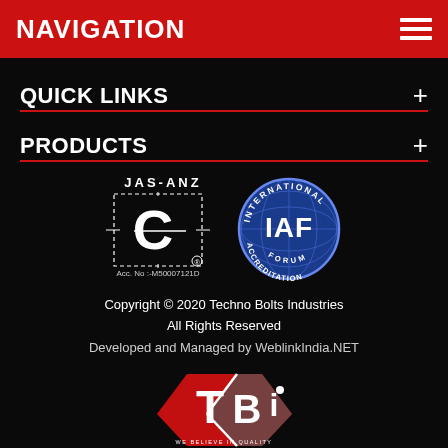NAVIGATION
QUICK LINKS +
PRODUCTS +
[Figure (logo): JAS-ANZ certification logo with dashed border C symbol and Acc. No:-M50007121D, alongside IAF International Accreditation Forum circular blue logo]
Copyright © 2020 Techno Bolts Industries
All Rights Reserved
Developed and Managed by WeblinkIndia.NET
[Figure (logo): Techno Bolts Industries TBi hexagonal logo in red and grey with text WE BELIEVE IN QUALITY]